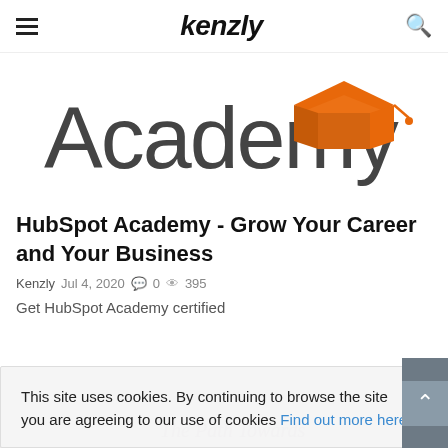kenzly
[Figure (logo): HubSpot Academy logo with large 'Academy' text and orange graduation cap icon]
HubSpot Academy - Grow Your Career and Your Business
Kenzly  Jul 4, 2020  0  395
Get HubSpot Academy certified
This site uses cookies. By continuing to browse the site you are agreeing to our use of cookies Find out more here